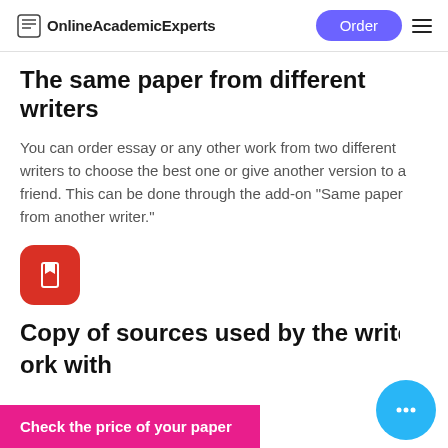OnlineAcademicExperts | Order
The same paper from different writers
You can order essay or any other work from two different writers to choose the best one or give another version to a friend. This can be done through the add-on "Same paper from another writer."
[Figure (logo): Red rounded square icon with a white bookmark/tag symbol]
Copy of sources used by the writer
ork with
Check the price of your paper